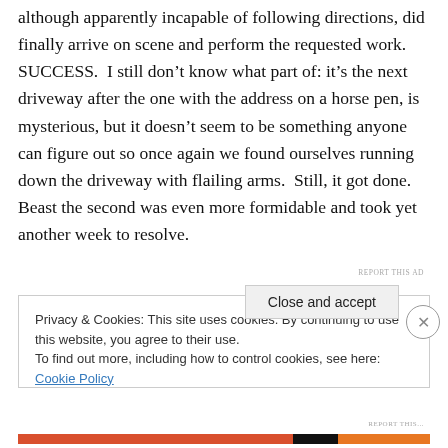although apparently incapable of following directions, did finally arrive on scene and perform the requested work. SUCCESS.  I still don't know what part of: it's the next driveway after the one with the address on a horse pen, is mysterious, but it doesn't seem to be something anyone can figure out so once again we found ourselves running down the driveway with flailing arms.  Still, it got done. Beast the second was even more formidable and took yet another week to resolve.
REPORT THIS AD
Privacy & Cookies: This site uses cookies. By continuing to use this website, you agree to their use.
To find out more, including how to control cookies, see here: Cookie Policy
Close and accept